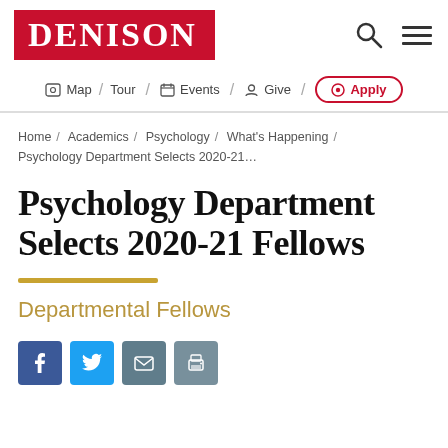DENISON
Map / Tour  Events  Give  Apply
Home / Academics / Psychology / What's Happening / Psychology Department Selects 2020-21...
Psychology Department Selects 2020-21 Fellows
Departmental Fellows
[Figure (other): Social sharing buttons: Facebook, Twitter, Email, Print]